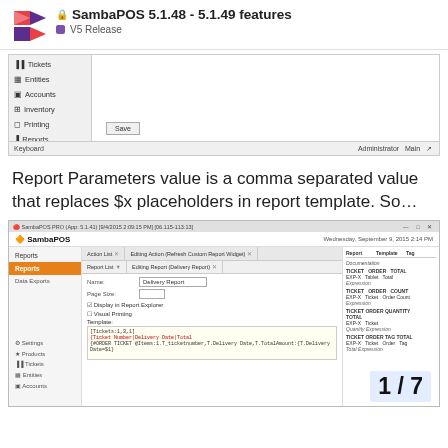SambaPOS 5.1.48 - 5.1.49 features | V5 Release
[Figure (screenshot): SambaPOS admin settings screenshot showing sidebar with Tickets, Entities, Accounts, Inventory, Printing, Reports, Automation, Users items and a Save button, with Keyboard and Administrator/Main bar at bottom]
Report Parameters value is a comma separated value that replaces $x placeholders in report template. So…
[Figure (screenshot): SambaPOS PRO application screenshot showing Reports section with Report List, Editing Report (Delivery Report) form with Name, Page Size, Display in Report Explorer, Visual Printing, Template fields containing [Tickets:1,3,1] etc. Right panel shows Report Template Tag Documentation with TICKET ORDER TOTAL, TICKET ORDER COUNT, TICKET ORDER QUANTITY TOTAL, TICKET ORDER TAG TOTAL entries. Page navigation shows 1/7.]